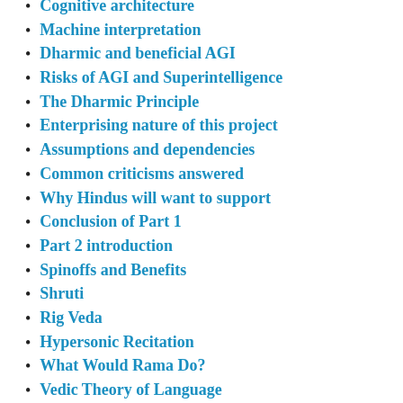Cognitive architecture
Machine interpretation
Dharmic and beneficial AGI
Risks of AGI and Superintelligence
The Dharmic Principle
Enterprising nature of this project
Assumptions and dependencies
Common criticisms answered
Why Hindus will want to support
Conclusion of Part 1
Part 2 introduction
Spinoffs and Benefits
Shruti
Rig Veda
Hypersonic Recitation
What Would Rama Do?
Vedic Theory of Language